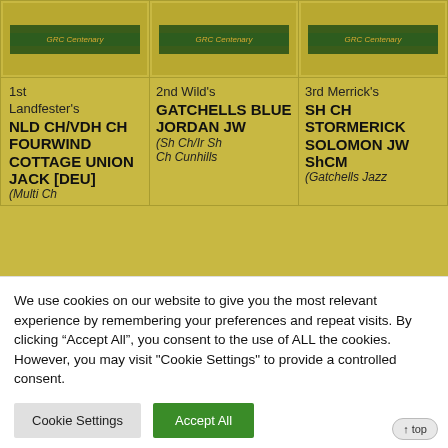| 1st | 2nd | 3rd |
| --- | --- | --- |
| [image: GRC Centenary] | [image: GRC Centenary] | [image: GRC Centenary] |
| 1st Landfester's NLD CH/VDH CH FOURWIND COTTAGE UNION JACK [DEU] (Multi Ch ... | 2nd Wild's GATCHELLS BLUE JORDAN JW (Sh Ch/Ir Sh Ch Cunhills ... | 3rd Merrick's SH CH STORMERICK SOLOMON JW ShCM (Gatchells Jazz ... |
We use cookies on our website to give you the most relevant experience by remembering your preferences and repeat visits. By clicking “Accept All”, you consent to the use of ALL the cookies. However, you may visit "Cookie Settings" to provide a controlled consent.
Cookie Settings | Accept All